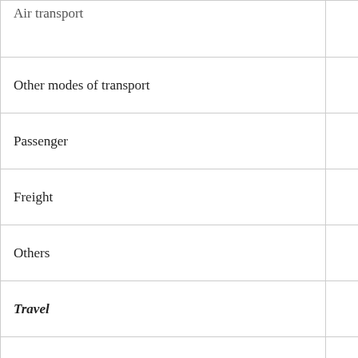| Air transport |  |
| Other modes of transport |  |
| Passenger |  |
| Freight |  |
| Others |  |
| Travel |  |
| Business |  |